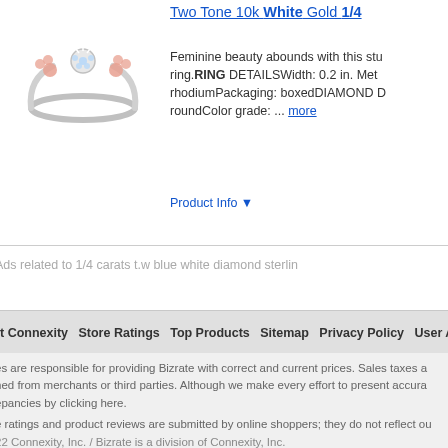Two Tone 10k White Gold 1/4
[Figure (photo): A two-tone 10k white and rose gold diamond ring with floral design, shown on white background]
Feminine beauty abounds with this stu ring.RING DETAILSWidth: 0.2 in. Met rhodiumPackaging: boxedDIAMOND D roundColor grade: ... more
Product Info ▼
Ads related to 1/4 carats t.w blue white diamond sterlin
t Connexity   Store Ratings   Top Products   Sitemap   Privacy Policy   User Agreement
es are responsible for providing Bizrate with correct and current prices. Sales taxes a ned from merchants or third parties. Although we make every effort to present accura epancies by clicking here.
e ratings and product reviews are submitted by online shoppers; they do not reflect ou
22 Connexity, Inc. / Bizrate is a division of Connexity, Inc.